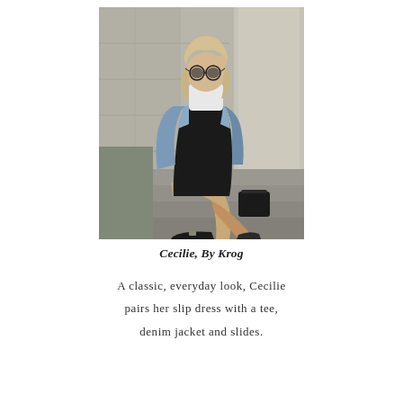[Figure (photo): A young blonde woman sitting on stone steps outside a classical building. She wears a black slip dress over a white turtleneck tee, a light blue denim jacket, and black loafer-style slides. She has round sunglasses and a black bag beside her. The photo is in a slightly desaturated, editorial style.]
Cecilie, By Krog
A classic, everyday look, Cecilie pairs her slip dress with a tee, denim jacket and slides.